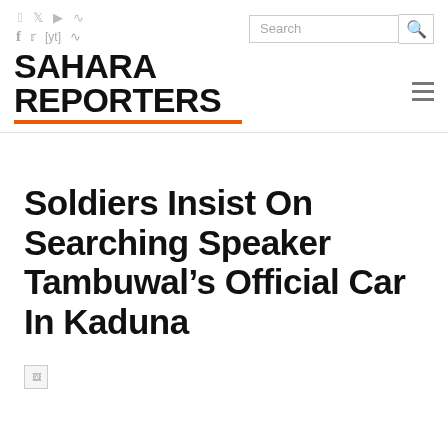[Figure (logo): Sahara Reporters logo with social media icons (Facebook, Twitter, YouTube, RSS) above the bold text logo with orange underline]
[Figure (other): Search bar with search button and hamburger menu icon]
Soldiers Insist On Searching Speaker Tambuwal’s Official Car In Kaduna
[Figure (photo): Broken/missing image placeholder]